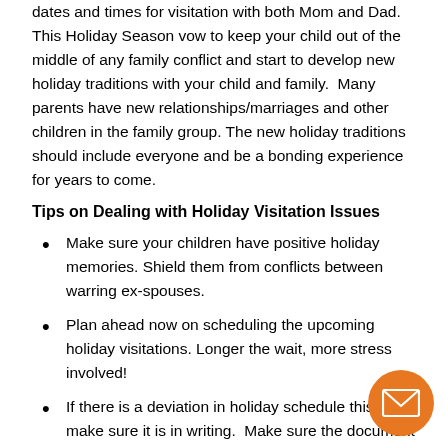dates and times for visitation with both Mom and Dad.  This Holiday Season vow to keep your child out of the middle of any family conflict and start to develop new holiday traditions with your child and family.  Many parents have new relationships/marriages and other children in the family group. The new holiday traditions should include everyone and be a bonding experience for years to come.
Tips on Dealing with Holiday Visitation Issues
Make sure your children have positive holiday memories. Shield them from conflicts between warring ex-spouses.
Plan ahead now on scheduling the upcoming holiday visitations. Longer the wait, more stress involved!
If there is a deviation in holiday schedule this year, make sure it is in writing.  Make sure the document show times are being exchanged and both parents sign it for